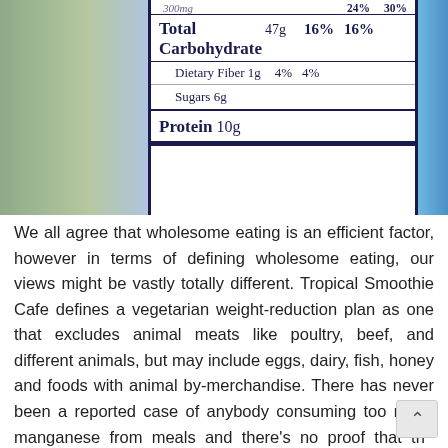[Figure (photo): Close-up photograph of a nutrition facts label on a food package showing Total Carbohydrate 47g 16% 16%, Dietary Fiber 1g 4% 4%, Sugars 6g, Protein 10g, against a background of outdoor scenery and a blue package edge.]
We all agree that wholesome eating is an efficient factor, however in terms of defining wholesome eating, our views might be vastly totally different. Tropical Smoothie Cafe defines a vegetarian weight-reduction plan as one that excludes animal meats like poultry, beef, and different animals, but may include eggs, dairy, fish, honey and foods with animal by-merchandise. There has never been a reported case of anybody consuming too much manganese from meals and there's no proof that the consumption of a manganese-wealthy plant-based diet, is the cause of the development or any toxicity (10).